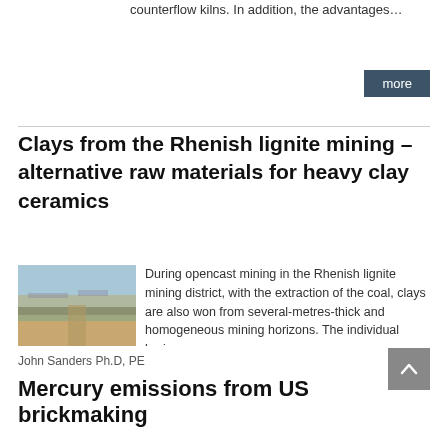counterflow kilns. In addition, the advantages…
more
Clays from the Rhenish lignite mining – alternative raw materials for heavy clay ceramics
[Figure (photo): Aerial photograph of the Rhenish lignite mining district showing opencast mining operations]
During opencast mining in the Rhenish lignite mining district, with the extraction of the coal, clays are also won from several-metres-thick and homogeneous mining horizons. The individual horizons…
more
John Sanders Ph.D, PE
Mercury emissions from US brickmaking